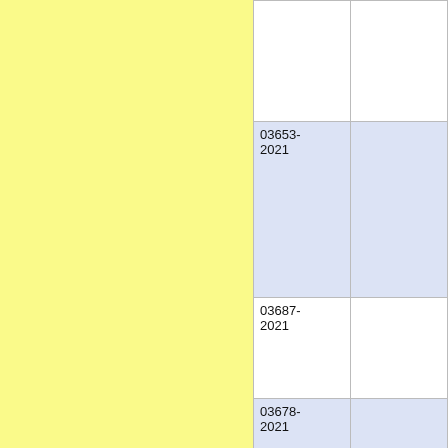|  |  |
| 03653-2021 |  |
| 03687-2021 |  |
| 03678-2021 |  |